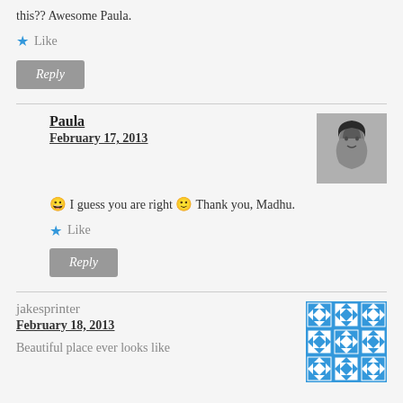this?? Awesome Paula.
Like
Reply
Paula
February 17, 2013
😀 I guess you are right 🙂 Thank you, Madhu.
Like
Reply
jakesprinter
February 18, 2013
Beautiful place ever looks like